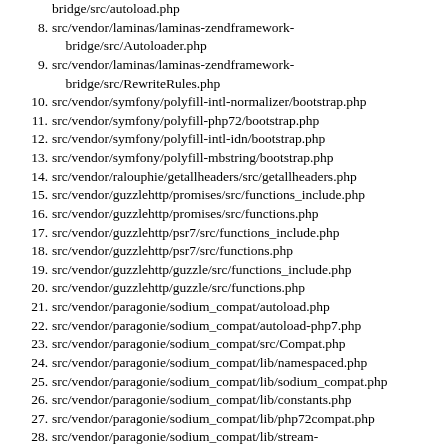bridge/src/autoload.php
8. src/vendor/laminas/laminas-zendframework-bridge/src/Autoloader.php
9. src/vendor/laminas/laminas-zendframework-bridge/src/RewriteRules.php
10. src/vendor/symfony/polyfill-intl-normalizer/bootstrap.php
11. src/vendor/symfony/polyfill-php72/bootstrap.php
12. src/vendor/symfony/polyfill-intl-idn/bootstrap.php
13. src/vendor/symfony/polyfill-mbstring/bootstrap.php
14. src/vendor/ralouphie/getallheaders/src/getallheaders.php
15. src/vendor/guzzlehttp/promises/src/functions_include.php
16. src/vendor/guzzlehttp/promises/src/functions.php
17. src/vendor/guzzlehttp/psr7/src/functions_include.php
18. src/vendor/guzzlehttp/psr7/src/functions.php
19. src/vendor/guzzlehttp/guzzle/src/functions_include.php
20. src/vendor/guzzlehttp/guzzle/src/functions.php
21. src/vendor/paragonie/sodium_compat/autoload.php
22. src/vendor/paragonie/sodium_compat/autoload-php7.php
23. src/vendor/paragonie/sodium_compat/src/Compat.php
24. src/vendor/paragonie/sodium_compat/lib/namespaced.php
25. src/vendor/paragonie/sodium_compat/lib/sodium_compat.php
26. src/vendor/paragonie/sodium_compat/lib/constants.php
27. src/vendor/paragonie/sodium_compat/lib/php72compat.php
28. src/vendor/paragonie/sodium_compat/lib/stream-xchacha20.php
29. src/vendor/paragonie/sodium_compat/lib/ristretto255.php